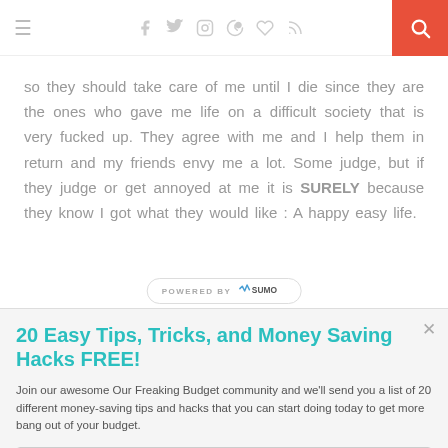≡  [social icons: facebook, twitter, instagram, pinterest, heart, rss]  [search]
so they should take care of me until I die since they are the ones who gave me life on a difficult society that is very fucked up. They agree with me and I help them in return and my friends envy me a lot. Some judge, but if they judge or get annoyed at me it is SURELY because they know I got what they would like : A happy easy life.
POWERED BY SUMO
20 Easy Tips, Tricks, and Money Saving Hacks FREE!
Join our awesome Our Freaking Budget community and we'll send you a list of 20 different money-saving tips and hacks that you can start doing today to get more bang out of your budget.
Enter your Email
Sign Me Up!